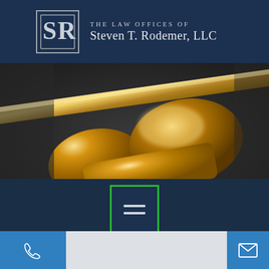[Figure (logo): The Law Offices of Steven T. Rodemer, LLC logo with SR monogram on dark blue header bar]
[Figure (photo): Close-up photograph of a gold/brass judge's gavel on a dark reflective surface, with golden tones and blur background]
[Figure (other): Mobile website navigation section with hamburger menu button (three horizontal lines) in green-bordered box, phone icon on left in blue, email icon on right in blue, light gray middle section]